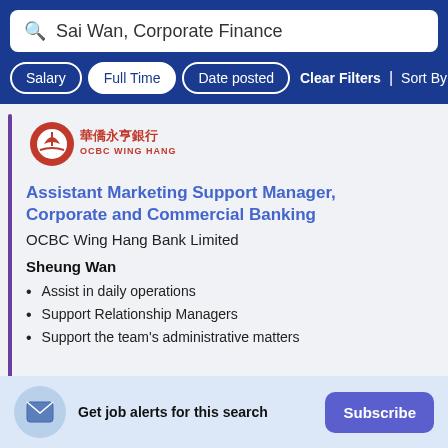Sai Wan, Corporate Finance
Salary | Full Time | Date posted | Clear Filters | Sort By Relevance
[Figure (logo): OCBC Wing Hang Bank logo with red circular emblem and Chinese/English text]
Assistant Marketing Support Manager, Corporate and Commercial Banking
OCBC Wing Hang Bank Limited
Sheung Wan
Assist in daily operations
Support Relationship Managers
Support the team's administrative matters
Get job alerts for this search  Subscribe